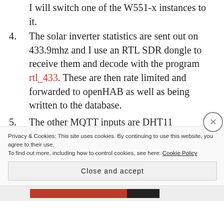4. The solar inverter statistics are sent out on 433.9mhz and I use an RTL SDR dongle to receive them and decode with the program rtl_433. These are then rate limited and forwarded to openHAB as well as being written to the database.
5. The other MQTT inputs are DHT11 temperature and humidity sensors in the house hooked up to various Pi I have. I've not got around to doing anything with these in Node-RED yet but they are currently used by openHAB.
Privacy & Cookies: This site uses cookies. By continuing to use this website, you agree to their use. To find out more, including how to control cookies, see here: Cookie Policy
Close and accept